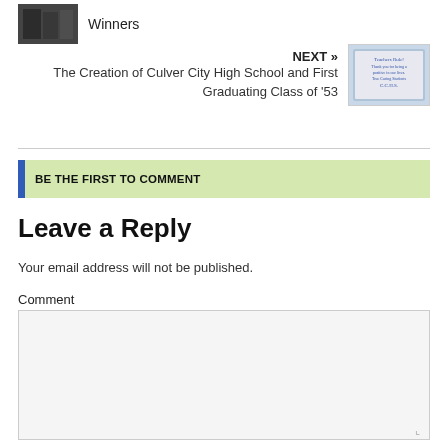[Figure (photo): Small thumbnail image of people, appears dark/silhouetted]
Winners
NEXT »
The Creation of Culver City High School and First Graduating Class of '53
[Figure (photo): Small thumbnail image of a handwritten note reading 'Teachers Rule! Thank you for being a positive in our lives. True Caring Students C.C.H.S.']
BE THE FIRST TO COMMENT
Leave a Reply
Your email address will not be published.
Comment